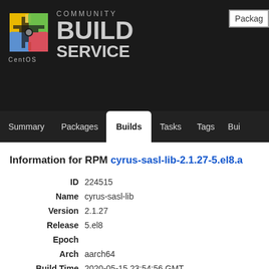[Figure (logo): CentOS Community Build Service logo with colorful diamond/cross icon]
Package search box (partially visible)
Summary | Packages | Builds | Tasks | Tags | Bui...
Information for RPM cyrus-sasl-lib-2.1.27-5.el8.a...
| Field | Value |
| --- | --- |
| ID | 224515 |
| Name | cyrus-sasl-lib |
| Version | 2.1.27 |
| Release | 5.el8 |
| Epoch |  |
| Arch | aarch64 |
| Build Time | 2020-05-15 23:54:56 GMT |
| External Repository | centos8-baseos |
| Size | 907.78 KB |